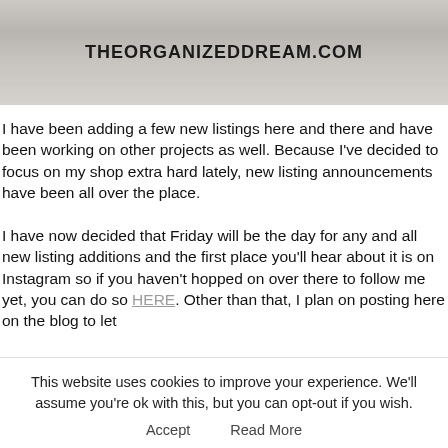[Figure (photo): A marble surface with shoe stickers/icons scattered around and the website URL THEORGANIZEDDREAM.COM displayed in bold text in the center]
I have been adding a few new listings here and there and have been working on other projects as well. Because I've decided to focus on my shop extra hard lately, new listing announcements have been all over the place. I have now decided that Friday will be the day for any and all new listing additions and the first place you'll hear about it is on Instagram so if you haven't hopped on over there to follow me yet, you can do so HERE. Other than that, I plan on posting here on the blog to let
This website uses cookies to improve your experience. We'll assume you're ok with this, but you can opt-out if you wish. Accept   Read More